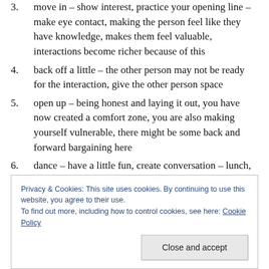3. move in – show interest, practice your opening line – make eye contact, making the person feel like they have knowledge, makes them feel valuable, interactions become richer because of this
4. back off a little – the other person may not be ready for the interaction, give the other person space
5. open up – being honest and laying it out, you have now created a comfort zone, you are also making yourself vulnerable, there might be some back and forward bargaining here
6. dance – have a little fun, create conversation – lunch,
Privacy & Cookies: This site uses cookies. By continuing to use this website, you agree to their use. To find out more, including how to control cookies, see here: Cookie Policy